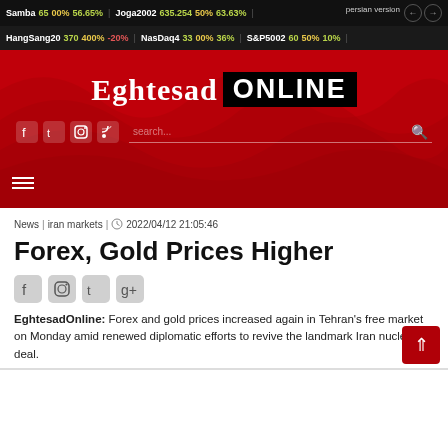persian version
Samba 65 00% 56.65% | Joga2002 635.254 50% 63.63%
HangSang20 370 400% -20% | NasDaq4 33 00% 36% | S&P5002 60 50% 10%
[Figure (logo): Eghtesad ONLINE logo on red wave background with social icons and search bar]
News | iran markets | 2022/04/12 21:05:46
Forex, Gold Prices Higher
EghtesadOnline: Forex and gold prices increased again in Tehran's free market on Monday amid renewed diplomatic efforts to revive the landmark Iran nuclear deal.